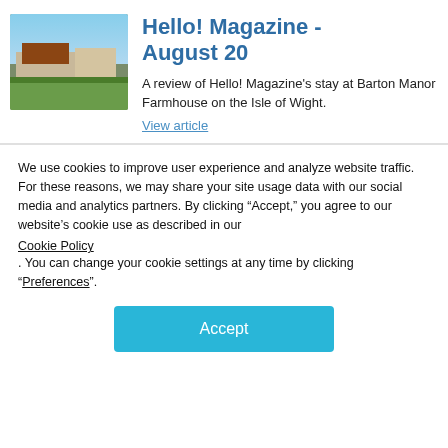[Figure (photo): Photo of Barton Manor Farmhouse on the Isle of Wight — a stone farmhouse with red roof under a blue sky with green lawn in foreground]
Hello! Magazine - August 20
A review of Hello! Magazine's stay at Barton Manor Farmhouse on the Isle of Wight.
View article
We use cookies to improve user experience and analyze website traffic. For these reasons, we may share your site usage data with our social media and analytics partners. By clicking “Accept,” you agree to our website’s cookie use as described in our Cookie Policy . You can change your cookie settings at any time by clicking “Preferences”.
Accept